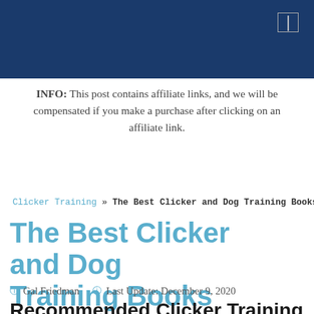[Figure (other): Dark blue website header bar with a small rectangle/menu icon in the top right corner]
INFO: This post contains affiliate links, and we will be compensated if you make a purchase after clicking on an affiliate link.
Clicker Training » The Best Clicker and Dog Training Books
The Best Clicker and Dog Training Books
Gal Friedman   Last Update: December 9, 2020
Recommended Clicker Training